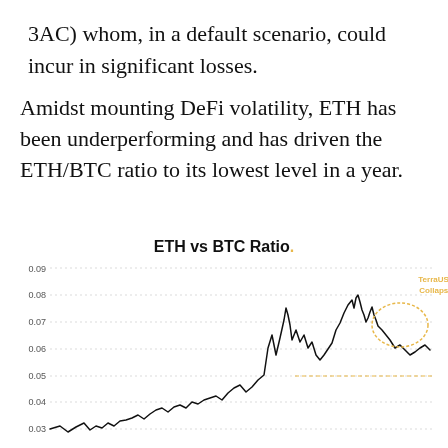3AC) whom, in a default scenario, could incur in significant losses.
Amidst mounting DeFi volatility, ETH has been underperforming and has driven the ETH/BTC ratio to its lowest level in a year.
[Figure (continuous-plot): Line chart showing ETH/BTC ratio over time from approximately 0.02 to a peak near 0.085, then declining. A dashed horizontal line is shown at approximately 0.05. An annotation labels the TerraUST Collapse event near the right side of the chart. Y-axis shows values from 0.03 to 0.09.]